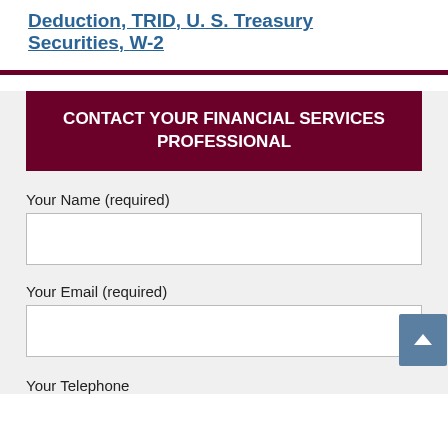Deduction, TRID, U. S. Treasury Securities, W-2
CONTACT YOUR FINANCIAL SERVICES PROFESSIONAL
Your Name (required)
Your Email (required)
Your Telephone